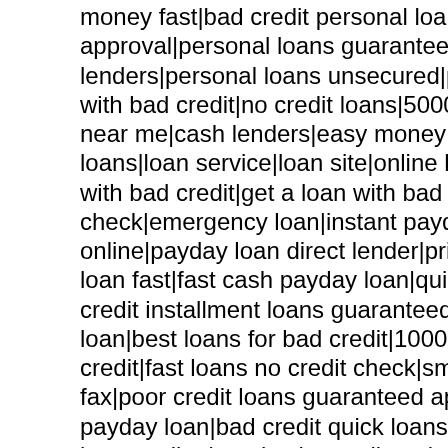money fast|bad credit personal loans guaranteed approval|best online approval|personal loans guaranteed approval|cash fast loan|installment lenders|personal loans unsecured|personal loans low interest rates with bad credit|no credit loans|5000 personal loan|unsecured loans near me|cash lenders|easy money payday loans|online payday loans|loan service|loan site|online loan application|payday loan no fax with bad credit|get a loan with bad credit|payday loan cash advance check|emergency loan|instant payday loan|personal loan interest rate online|payday loan direct lender|private loan|money fast online|guaranteed loan fast|fast cash payday loan|quick cash loans no credit check|no credit installment loans guaranteed|installment loans guaranteed|loan|best loans for bad credit|1000 loan|online loans bad credit instant credit|fast loans no credit check|small loan|money lender|loans online no fax|poor credit loans guaranteed approval|best payday loans online payday loan|bad credit quick loans|apply for loan|loans without credit loans online|payday loans direct lender|specialized loan services|express payday advance|payday express|best payday loan|direct payday lenders only|bad credit loans direct lenders|internet payday loans|loans payday loans|near me|finance|mortgage|loan|loans|advance|cash|pay best|lending|apply for|payday|bad credit|payday loans|home loans|debt consolidation|payday|bad credit finance|best bad credit